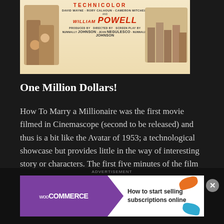[Figure (photo): Movie poster for 'How To Marry a Millionaire' showing Technicolor branding, cast names David Wayne, Rory Calhoun, Cameron Mitchell, and William Powell in large red italic text, directed by Jean Negulesco, produced by Nunnally Johnson.]
One Million Dollars!
How To Marry a Millionaire was the first movie filmed in Cinemascope (second to be released) and thus is a bit like the Avatar of 1953; a technological showcase but provides little in the way of interesting story or characters. The first five minutes of the film is comprised of composer Alfred Newman and his orchestra
[Figure (screenshot): WooCommerce advertisement banner: purple left panel with WooCommerce logo and arrow, right panel with text 'How to start selling subscriptions online', orange and teal decorative blobs. Close button (X) on right side.]